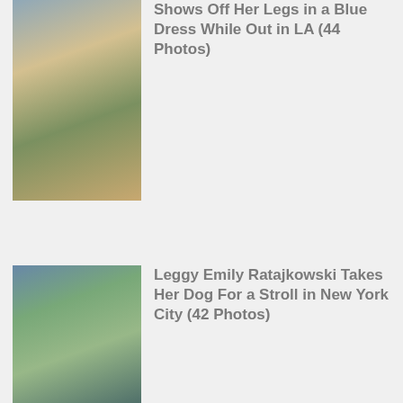[Figure (photo): Woman in blue dress standing outside near yellow flowers and green shrubs]
Shows Off Her Legs in a Blue Dress While Out in LA (44 Photos)
[Figure (photo): Emily Ratajkowski wearing sunglasses and a teal top walking outdoors]
Leggy Emily Ratajkowski Takes Her Dog For a Stroll in New York City (42 Photos)